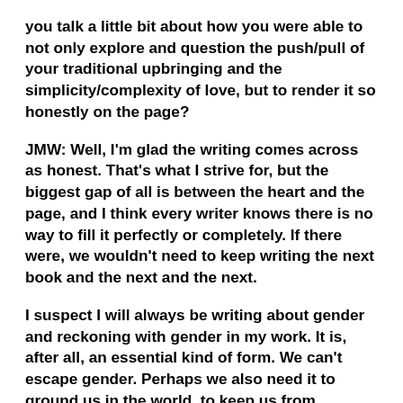you talk a little bit about how you were able to not only explore and question the push/pull of your traditional upbringing and the simplicity/complexity of love, but to render it so honestly on the page?
JMW: Well, I'm glad the writing comes across as honest. That's what I strive for, but the biggest gap of all is between the heart and the page, and I think every writer knows there is no way to fill it perfectly or completely. If there were, we wouldn't need to keep writing the next book and the next and the next.
I suspect I will always be writing about gender and reckoning with gender in my work. It is, after all, an essential kind of form. We can't escape gender. Perhaps we also need it to ground us in the world, to keep us from blowing away. When I have tried to resist gender in my